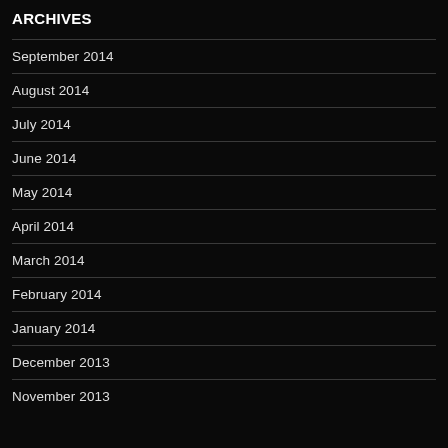ARCHIVES
September 2014
August 2014
July 2014
June 2014
May 2014
April 2014
March 2014
February 2014
January 2014
December 2013
November 2013